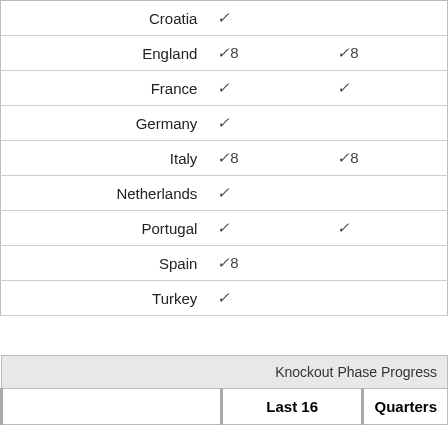| Country | Col1 | Col2 |
| --- | --- | --- |
| Croatia | ✓ |  |
| England | ✓8 | ✓8 |
| France | ✓ | ✓ |
| Germany | ✓ |  |
| Italy | ✓8 | ✓8 |
| Netherlands | ✓ |  |
| Portugal | ✓ | ✓ |
| Spain | ✓8 |  |
| Turkey | ✓ |  |
|  | Knockout Phase Progress |
| --- | --- |
|  | Last 16 | Quarters |